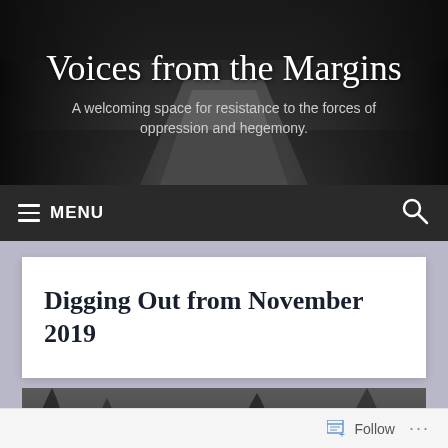Voices from the Margins
A welcoming space for resistance to the forces of oppression and hegemony.
≡ MENU
Digging Out from November 2019
[Figure (photo): Dark forest scene viewed from a road, monochrome]
Follow ...